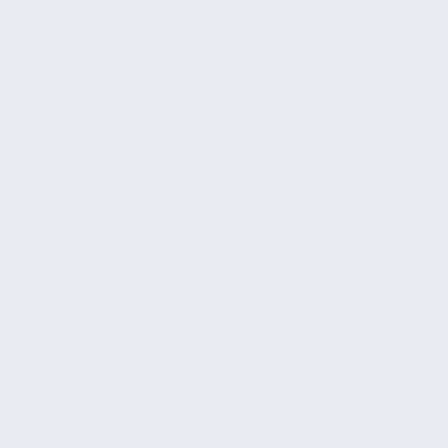November 2...
October 2...
September...
August 20...
July 2004
June 2004...
May 2004
April 2004...
March 200...
February ...
January 2...
December...
November...
October 2...
September...
August 20...
July 2003
June 2003...
May 2003
April 2003...
March 200...
February ...
January 2...
October 2...
August 20...
July 2002
May 2002
April 2002...
March 200...
February ...
January 2...
December...